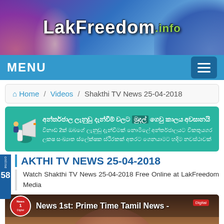[Figure (screenshot): LakFreedom.info website header banner with logo text on colorful concert crowd background]
MENU
Home / Videos / Shakthi TV News 25-04-2018
[Figure (screenshot): Advertisement banner in teal/green color with Sinhala text about internet earnings]
AKTHI TV NEWS 25-04-2018
Watch Shakthi TV News 25-04-2018 Free Online at LakFreedom Media
[Figure (screenshot): Video thumbnail showing News 1st Prime Time Tamil News with female anchor, Digital channel logo visible]